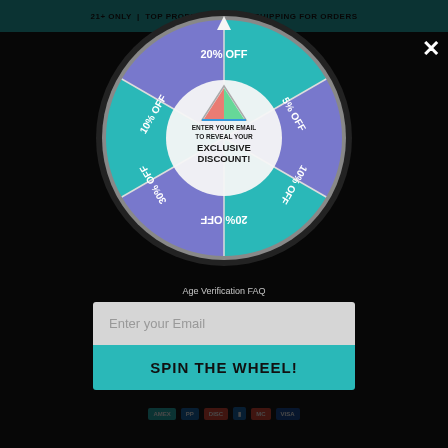21+ ONLY | TOP PRODUCTS | FREE SHIPPING FOR ORDERS
Welcome to Prism!
You must verify you are 21+ to shop on our site
[Figure (other): Spin-the-wheel promotional popup with segments labeled 20% OFF, 5% OFF, 10% OFF, 30% OFF, 10% OFF, 20% OFF in alternating teal and purple/blue colors. Center has Prism logo (triangle prism with rainbow) and text: ENTER YOUR EMAIL TO REVEAL YOUR EXCLUSIVE DISCOUNT!]
Age Verification FAQ
Enter your Email
SPIN THE WHEEL!